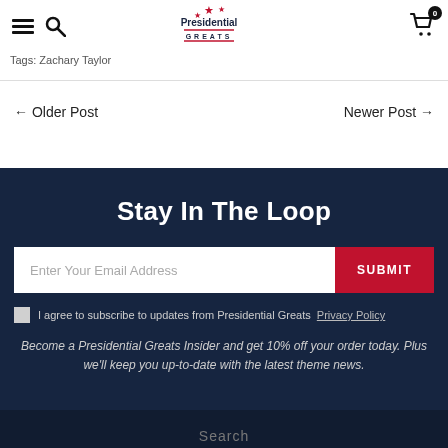Presidential Greats — navigation header with hamburger menu, search, logo, and cart (0)
Tags: Zachary Taylor
← Older Post
Newer Post →
Stay In The Loop
Enter Your Email Address | SUBMIT
I agree to subscribe to updates from Presidential Greats  Privacy Policy
Become a Presidential Greats Insider and get 10% off your order today. Plus we'll keep you up-to-date with the latest theme news.
Search